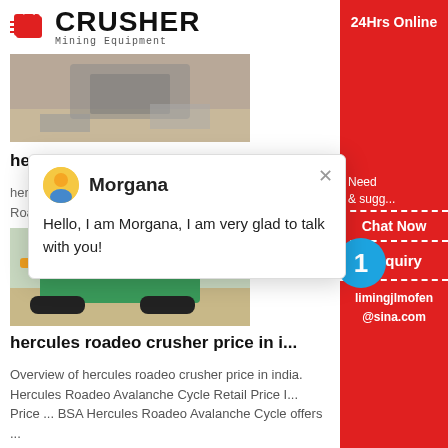[Figure (logo): Crusher Mining Equipment logo with red shopping bag icon and bold text]
[Figure (photo): Photo of mining/crushing equipment on construction site, partially visible]
hercules roadeo crusher bicycle -
hercules roadeo crusher cycle price in india. Buy Roadeo Turner Bicycle Online - Biker Gear Stor...
[Figure (screenshot): Chat popup with avatar of Morgana, text: Hello, I am Morgana, I am very glad to talk with you!]
[Figure (photo): Photo of green mobile crushing plant on job site]
hercules roadeo crusher price in i...
Overview of hercules roadeo crusher price in india. Hercules Roadeo Avalanche Cycle Retail Price I... Price ... BSA Hercules Roadeo Avalanche Cycle offers ...